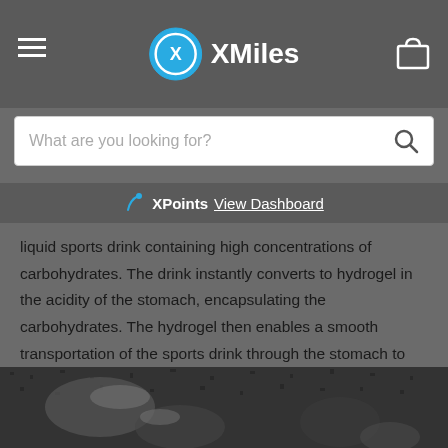XMiles
What are you looking for?
XPoints View Dashboard
liquid sports drink containing high concentrations of carbohydrates. The drink instantly converts to hydrogel in the acidity of the stomach, encapsulating the carbohydrates. The hydrogel then enables a smooth transportation of the sports drink through the stomach to the intestine where the water, salt and carbohydrates are absorbed.
[Figure (photo): Black and white photo of an athlete's hands/arms on a textured dark surface, possibly a running track or road]